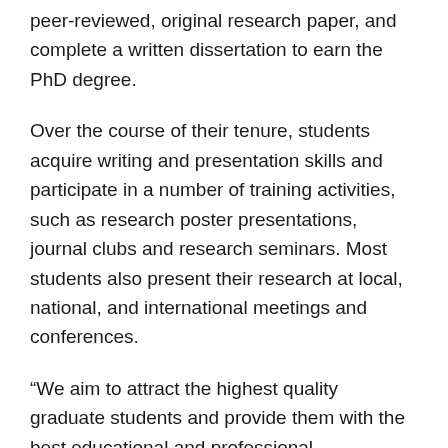peer-reviewed, original research paper, and complete a written dissertation to earn the PhD degree.
Over the course of their tenure, students acquire writing and presentation skills and participate in a number of training activities, such as research poster presentations, journal clubs and research seminars. Most students also present their research at local, national, and international meetings and conferences.
“We aim to attract the highest quality graduate students and provide them with the best educational and professional development opportunities so they can be successful scientists in their chosen careers,” Karpus says.